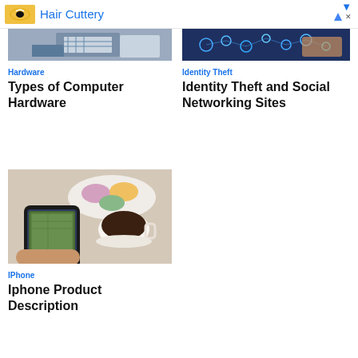Hair Cuttery
[Figure (photo): Person working with computer hardware, keyboard visible]
Hardware
Types of Computer Hardware
[Figure (photo): Identity theft concept with digital icons and hand touching screen]
Identity Theft
Identity Theft and Social Networking Sites
[Figure (photo): Hand holding iPhone with coffee and macarons in background]
IPhone
Iphone Product Description